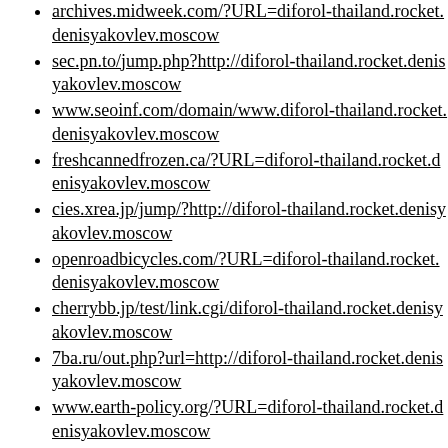archives.midweek.com/?URL=diforol-thailand.rocket.denisyakovlev.moscow
sec.pn.to/jump.php?http://diforol-thailand.rocket.denisyakovlev.moscow
www.seoinf.com/domain/www.diforol-thailand.rocket.denisyakovlev.moscow
freshcannedfrozen.ca/?URL=diforol-thailand.rocket.denisyakovlev.moscow
cies.xrea.jp/jump/?http://diforol-thailand.rocket.denisyakovlev.moscow
openroadbicycles.com/?URL=diforol-thailand.rocket.denisyakovlev.moscow
cherrybb.jp/test/link.cgi/diforol-thailand.rocket.denisyakovlev.moscow
7ba.ru/out.php?url=http://diforol-thailand.rocket.denisyakovlev.moscow
www.earth-policy.org/?URL=diforol-thailand.rocket.denisyakovlev.moscow
showhorsegallery.com/?URL=diforol-